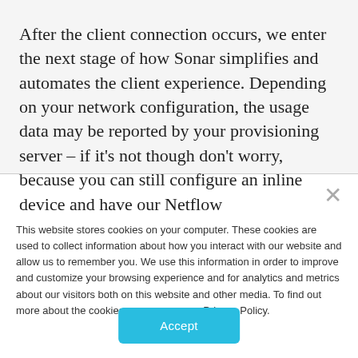After the client connection occurs, we enter the next stage of how Sonar simplifies and automates the client experience. Depending on your network configuration, the usage data may be reported by your provisioning server – if it's not though don't worry, because you can still configure an inline device and have our Netflow
This website stores cookies on your computer. These cookies are used to collect information about how you interact with our website and allow us to remember you. We use this information in order to improve and customize your browsing experience and for analytics and metrics about our visitors both on this website and other media. To find out more about the cookies we use, see our Privacy Policy.